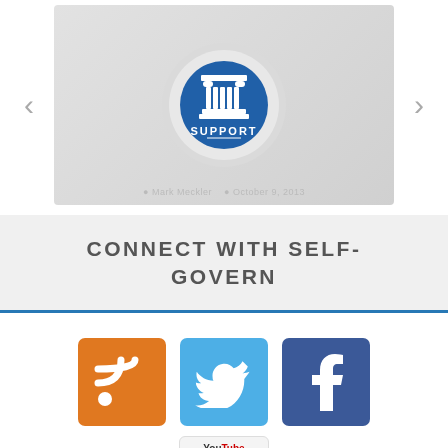[Figure (screenshot): Carousel slide showing a blue circular button with a Greek column/pillar icon and the word SUPPORT beneath it. Navigation arrows on left and right. Author: Mark Meckler, Date: October 9, 2013.]
CONNECT WITH SELF-GOVERN
[Figure (logo): RSS feed icon - orange square with white RSS signal symbol]
[Figure (logo): Twitter icon - blue square with white bird logo]
[Figure (logo): Facebook icon - dark blue square with white lowercase f]
[Figure (logo): YouTube icon - light grey square with YouTube logo (partially visible)]